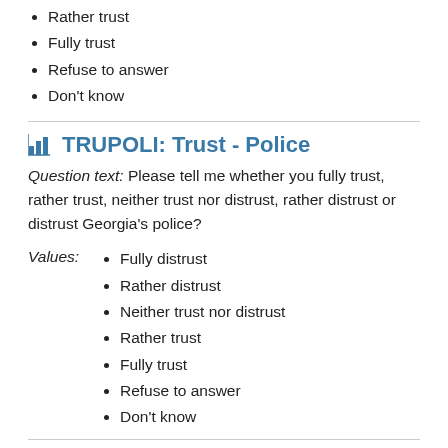Rather trust
Fully trust
Refuse to answer
Don't know
TRUPOLI: Trust - Police
Question text: Please tell me whether you fully trust, rather trust, neither trust nor distrust, rather distrust or distrust Georgia's police?
Fully distrust
Rather distrust
Neither trust nor distrust
Rather trust
Fully trust
Refuse to answer
Don't know
TRULOCG: Trust - Local government
Question text: Please tell me whether you fully trust, rather trust, neither trust nor distrust, rather distrust or distrust Georgia's local